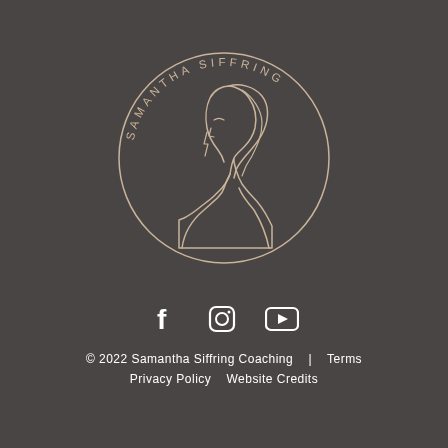[Figure (logo): Circular logo with line-art illustration of a woman in profile view and curved text reading SAMANTHA SIFFRING around the circle border]
[Figure (infographic): Three social media icons: Facebook (f), Instagram (camera circle), YouTube (play button)]
© 2022 Samantha Siffring Coaching   |   Terms   Privacy Policy   Website Credits